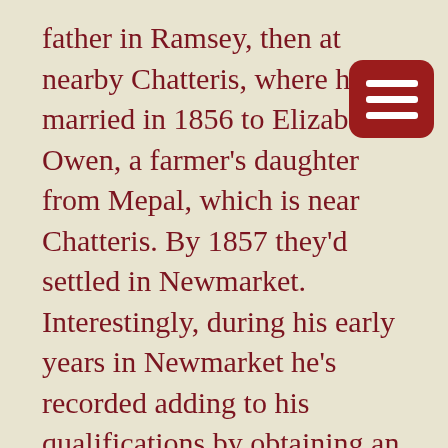father in Ramsey, then at nearby Chatteris, where he married in 1856 to Elizabeth Owen, a farmer's daughter from Mepal, which is near Chatteris. By 1857 they'd settled in Newmarket. Interestingly, during his early years in Newmarket he's recorded adding to his qualifications by obtaining an MD from St Andrews in 1858 and a PhD and MA from Giessen, Germany in 1859.